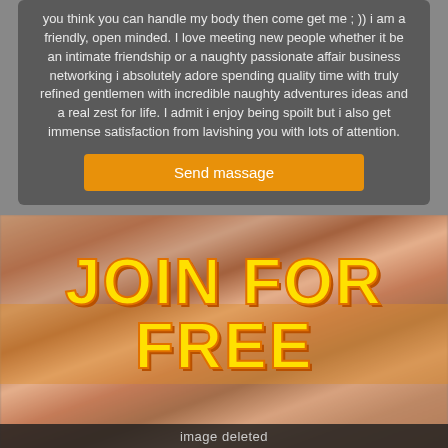you think you can handle my body then come get me ; )) i am a friendly, open minded. I love meeting new people whether it be an intimate friendship or a naughty passionate affair business networking i absolutely adore spending quality time with truly refined gentlemen with incredible naughty adventures ideas and a real zest for life. I admit i enjoy being spoilt but i also get immense satisfaction from lavishing you with lots of attention.
Send massage
[Figure (photo): Banner image with 'JOIN FOR FREE' text overlay and 'image deleted' bar at bottom]
[Figure (photo): Partial banner image with partial 'JOIN FOR FREE' text overlay at bottom]